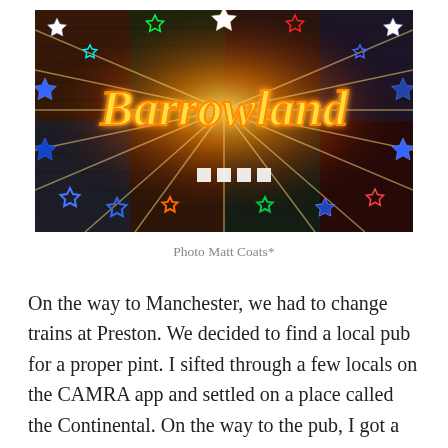[Figure (photo): Neon sign reading 'Barrowland' in yellow/orange cursive script with colorful stars (red, blue, green, white) on a dark brick background with radiating light beams]
Photo Matt Coats*
On the way to Manchester, we had to change trains at Preston. We decided to find a local pub for a proper pint. I sifted through a few locals on the CAMRA app and settled on a place called the Continental. On the way to the pub, I got a little turned around and decided that we might need to